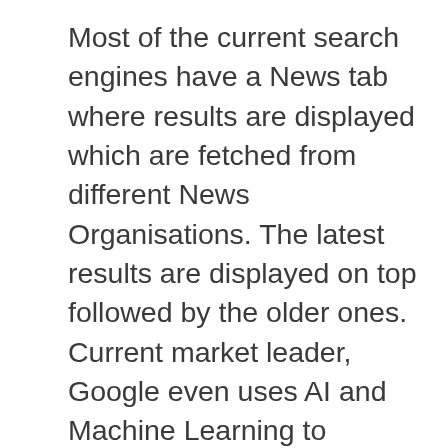Most of the current search engines have a News tab where results are displayed which are fetched from different News Organisations. The latest results are displayed on top followed by the older ones. Current market leader, Google even uses AI and Machine Learning to analyze the contents before delivering it as results to the user. In this blog, I will describe how I have implemented a basic News Tab in Susper which show news results from dailymail.co.uk . This News tab can be improved in future to match the market leader.